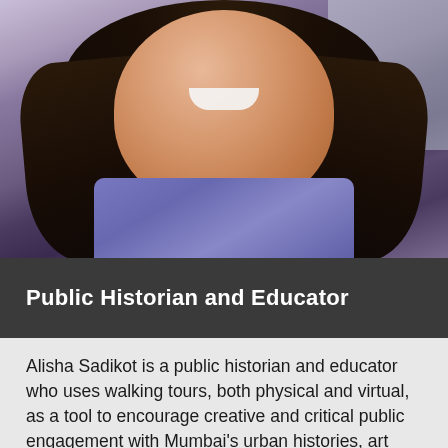[Figure (photo): Portrait photo of Alisha Sadikot, a woman with long dark hair, smiling, wearing a blue/purple shirt, against a light grey background.]
Public Historian and Educator
Alisha Sadikot is a public historian and educator who uses walking tours, both physical and virtual, as a tool to encourage creative and critical public engagement with Mumbai's urban histories, art and museum collections. Her practice focuses on broadening and deepening art, museum and heritage conversations through the Inheritage Project (since 2015) and Art Walks Mumbai which